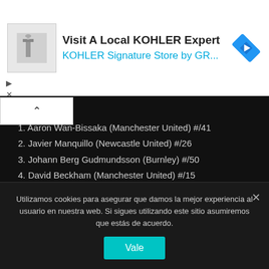[Figure (screenshot): Ad banner: image of bathroom faucet, text 'Visit A Local KOHLER Expert / KOHLER Signature Store by GR...', blue diamond navigation icon]
1. Aaron Wan-Bissaka (Manchester United) #/41
2. Javier Manquillo (Newcastle United) #/26
3. Johann Berg Gudmundsson (Burnley) #/50
4. David Beckham (Manchester United) #/15
5. Dwight McNeil (Burnley) #/35
6. Miguel Almiron (Newcastle United) #/44
7. Jamaal Lascelles (Newcastle United) #/23
8. Kieran Tierney (Arsenal) #/57
Utilizamos cookies para asegurar que damos la mejor experiencia al usuario en nuestra web. Si sigues utilizando este sitio asumiremos que estás de acuerdo.
Vale